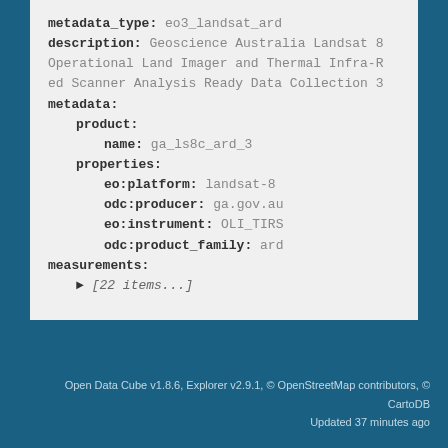metadata_type: eo3_landsat_ard
description: Geoscience Australia Landsat 8 Operational Land Imager and Thermal Infra-Red Scanner Analysis Ready Data Collection 3
metadata:
  product:
    name: ga_ls8c_ard_3
  properties:
    eo:platform: landsat-8
    odc:producer: ga.gov.au
    eo:instrument: OLI_TIRS
    odc:product_family: ard
measurements:
  ► [22 items...]
Open Data Cube v1.8.6, Explorer v2.9.1, © OpenStreetMap contributors, © CartoDB
Updated 37 minutes ago